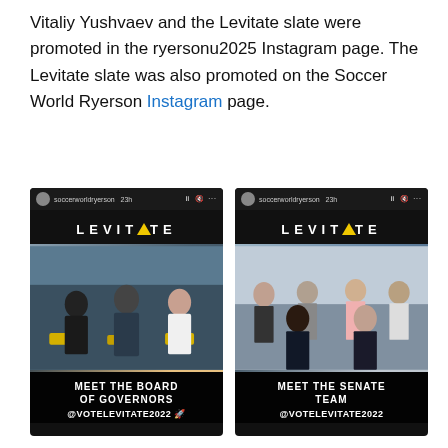Vitaliy Yushvaev and the Levitate slate were promoted in the ryersonu2025 Instagram page. The Levitate slate was also promoted on the Soccer World Ryerson Instagram page.
[Figure (screenshot): Two Instagram story screenshots from soccerworldryerson showing the Levitate slate. Left: 'MEET THE BOARD OF GOVERNORS' with three people seated, @VOTELEVITATE2022. Right: 'MEET THE SENATE TEAM' with six people standing, @VOTELEVITATE2022.]